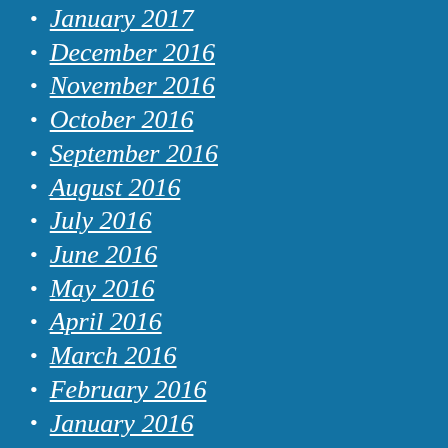January 2017
December 2016
November 2016
October 2016
September 2016
August 2016
July 2016
June 2016
May 2016
April 2016
March 2016
February 2016
January 2016
December 2015
November 2015
October 2015
September 2015